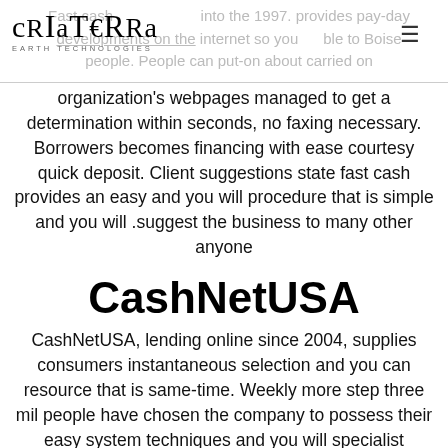CrIaTERRa EARTH TECHNOLOGIES
Fast cash into the 1997. provides pay-day developments on the internet so you able to Boise people. People can put-on about carried on organization's webpages managed to get a determination within seconds, no faxing necessary. Borrowers becomes financing with ease courtesy quick deposit. Client suggestions state fast cash provides an easy and you will procedure that is simple and you will suggest the business to many other anyone.
CashNetUSA
CashNetUSA, lending online since 2004, supplies consumers instantaneous selection and you can resource that is same-time. Weekly more step three mil people have chosen the company to possess their easy system techniques and you will specialist customer support, which is available 7 days. CashNetUSA becomes